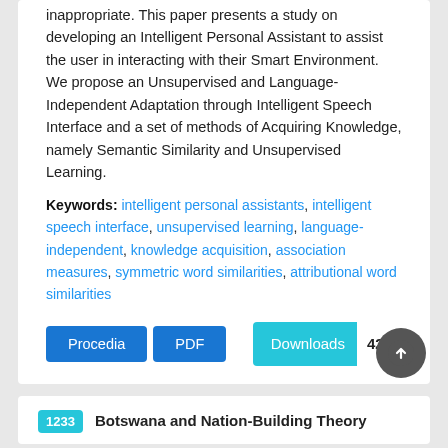inappropriate. This paper presents a study on developing an Intelligent Personal Assistant to assist the user in interacting with their Smart Environment. We propose an Unsupervised and Language-Independent Adaptation through Intelligent Speech Interface and a set of methods of Acquiring Knowledge, namely Semantic Similarity and Unsupervised Learning.
Keywords: intelligent personal assistants, intelligent speech interface, unsupervised learning, language-independent, knowledge acquisition, association measures, symmetric word similarities, attributional word similarities
Procedia | PDF | Downloads 421
1233 Botswana and Nation-Building Theory